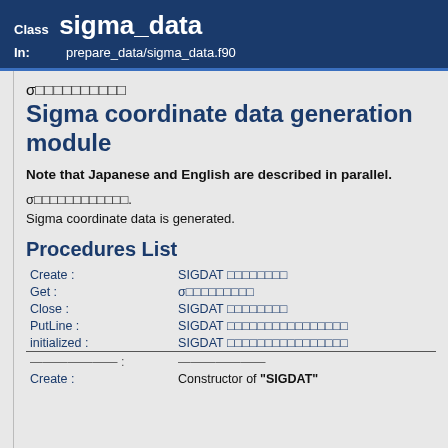Class sigma_data
In: prepare_data/sigma_data.f90
σ□□□□□□□□□□
Sigma coordinate data generation module
Note that Japanese and English are described in parallel.
σ□□□□□□□□□□□□.
Sigma coordinate data is generated.
Procedures List
| Procedure | : | Description |
| --- | --- | --- |
| Create : |  | SIGDAT □□□□□□□□ |
| Get : |  | σ□□□□□□□□□ |
| Close : |  | SIGDAT □□□□□□□□ |
| PutLine : |  | SIGDAT □□□□□□□□□□□□□□□□ |
| initialized : |  | SIGDAT □□□□□□□□□□□□□□□□ |
| ——————— | : | ——————— |
| Create : |  | Constructor of "SIGDAT" |